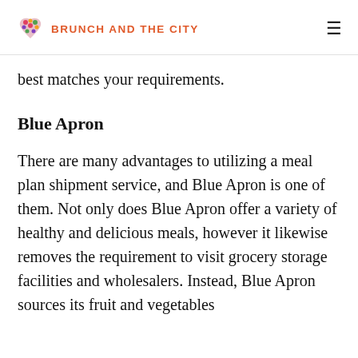BRUNCH AND THE CITY
best matches your requirements.
Blue Apron
There are many advantages to utilizing a meal plan shipment service, and Blue Apron is one of them. Not only does Blue Apron offer a variety of healthy and delicious meals, however it likewise removes the requirement to visit grocery storage facilities and wholesalers. Instead, Blue Apron sources its fruit and vegetables